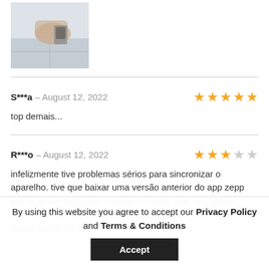[Figure (photo): Partial photo of a person holding what appears to be a smartwatch or device, cropped at top]
S***a – August 12, 2022 ★★★★★
top demais...
R***o – August 12, 2022 ★★★☆☆
infelizmente tive problemas sérios para sincronizar o aparelho. tive que baixar uma versão anterior do app zepp pra fazer ele funcionar. o relógio é lindo, mas tem graves problemas de software. Não sei se a amazfit está sabendo desse problema sério.
By using this website you agree to accept our Privacy Policy and Terms & Conditions
Accept